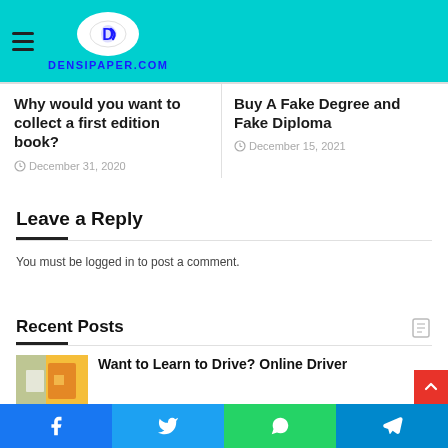DENSIPAPER.COM
Why would you want to collect a first edition book?
December 31, 2020
Buy A Fake Degree and Fake Diploma
December 15, 2021
Leave a Reply
You must be logged in to post a comment.
Recent Posts
Want to Learn to Drive? Online Driver
Facebook  Twitter  WhatsApp  Telegram